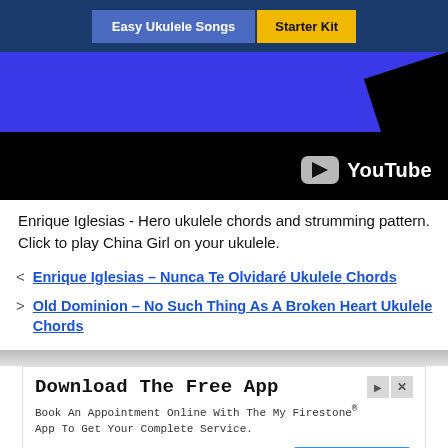Easy Ukulele Songs | Starter Kit
[Figure (screenshot): YouTube video thumbnail showing blue background with black diagonal stripe and YouTube logo in bottom right corner]
Enrique Iglesias - Hero ukulele chords and strumming pattern. Click to play China Girl on your ukulele.
< Enrique Iglesias – Nunca Te Olvidaré Ukulele Chords
> Old Dominion – No Such Thing As A Broken Heart Ukulele Chords
[Figure (screenshot): Advertisement for Download The Free App - Firestone My Firestone App. Book An Appointment Online With The My Firestone® App To Get Your Complete Service. Download button shown.]